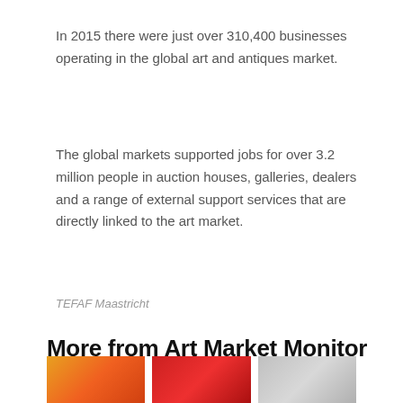In 2015 there were just over 310,400 businesses operating in the global art and antiques market.
The global markets supported jobs for over 3.2 million people in auction houses, galleries, dealers and a range of external support services that are directly linked to the art market.
TEFAF Maastricht
More from Art Market Monitor
[Figure (photo): Three thumbnail images in a row at the bottom of the page: first with warm orange/red tones, second with red tones, third with grey/silver tones.]